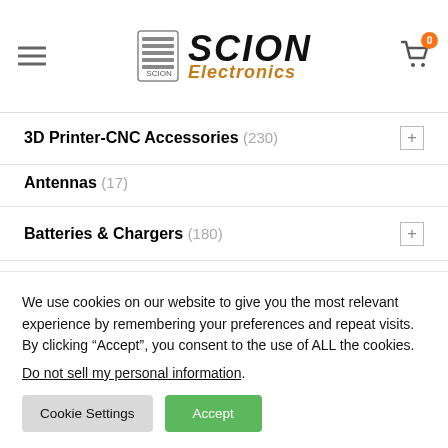[Figure (logo): Scion Electronics logo with hamburger menu and cart icon in header]
3D Printer-CNC Accessories (230)
Antennas (17)
Batteries & Chargers (180)
Blades (Propellers) (17)
Boards (56)
Books (70)
We use cookies on our website to give you the most relevant experience by remembering your preferences and repeat visits. By clicking “Accept”, you consent to the use of ALL the cookies.
Do not sell my personal information.